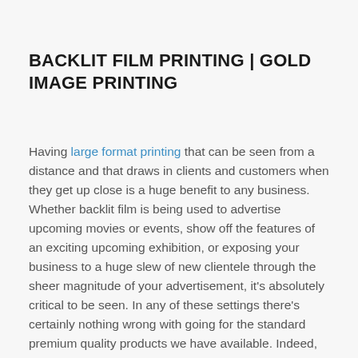BACKLIT FILM PRINTING | GOLD IMAGE PRINTING
Having large format printing that can be seen from a distance and that draws in clients and customers when they get up close is a huge benefit to any business. Whether backlit film is being used to advertise upcoming movies or events, show off the features of an exciting upcoming exhibition, or exposing your business to a huge slew of new clientele through the sheer magnitude of your advertisement, it's absolutely critical to be seen. In any of these settings there's certainly nothing wrong with going for the standard premium quality products we have available. Indeed, in many settings, such as trade shows, corporate functions, and